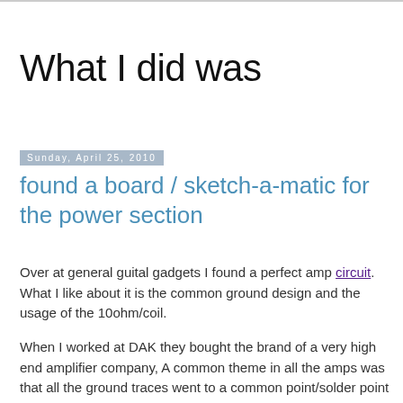What I did was
Sunday, April 25, 2010
found a board / sketch-a-matic for the power section
Over at general guital gadgets I found a perfect amp circuit. What I like about it is the common ground design and the usage of the 10ohm/coil.
When I worked at DAK they bought the brand of a very high end amplifier company, A common theme in all the amps was that all the ground traces went to a common point/solder point that was tied to the chassis. Prevents ground loops, and in a high gain chip power amp ground loops spell